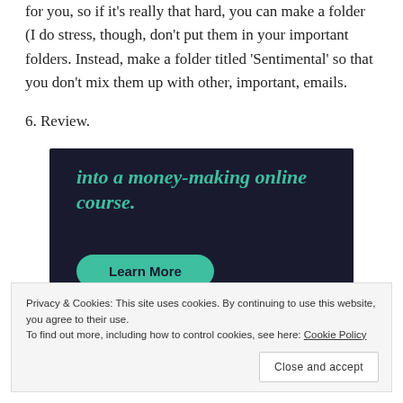for you, so if it's really that hard, you can make a folder (I do stress, though, don't put them in your important folders. Instead, make a folder titled 'Sentimental' so that you don't mix them up with other, important, emails.
6. Review.
[Figure (infographic): Dark navy advertisement banner reading 'into a money-making online course.' with a teal 'Learn More' button and a Sensei logo in the bottom right.]
Privacy & Cookies: This site uses cookies. By continuing to use this website, you agree to their use.
To find out more, including how to control cookies, see here: Cookie Policy
Close and accept